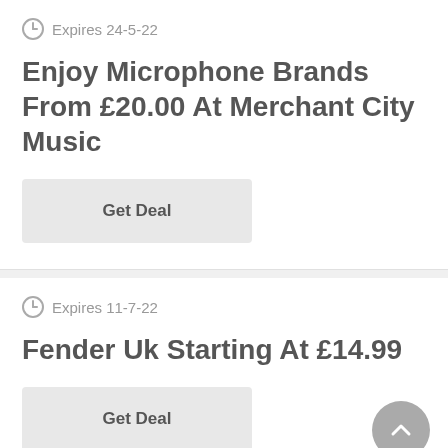Expires 24-5-22
Enjoy Microphone Brands From £20.00 At Merchant City Music
Get Deal
Expires 11-7-22
Fender Uk Starting At £14.99
Get Deal
Expires 13-7-22